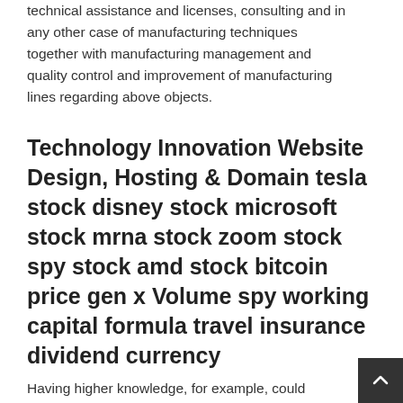technical assistance and licenses, consulting and in any other case of manufacturing techniques together with manufacturing management and quality control and improvement of manufacturing lines regarding above objects.
Technology Innovation Website Design, Hosting & Domain tesla stock disney stock microsoft stock mrna stock zoom stock spy stock amd stock bitcoin price gen x Volume spy working capital formula travel insurance dividend currency
Having higher knowledge, for example, could